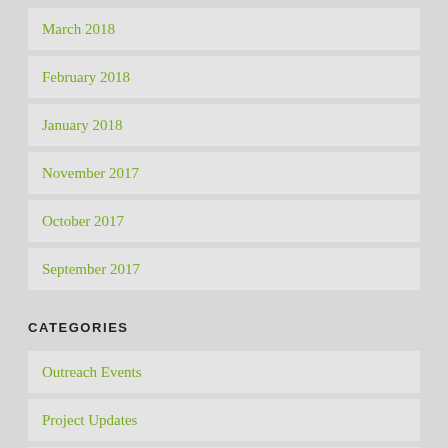March 2018
February 2018
January 2018
November 2017
October 2017
September 2017
CATEGORIES
Outreach Events
Project Updates
RCP Blog